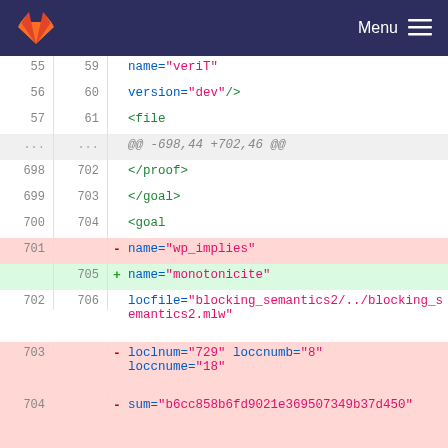GitLab Menu
[Figure (screenshot): Code diff view showing XML file changes. Lines 55-57 show name="veriT" and version="dev"/> and <file. A hunk header shows @@ -698,44 +702,46 @@. Lines 698-700/702-704 show </proof>, </goal>, <goal. Line 701 removed name="wp_implies", line 705 added name="monotonicite". Line 702/706 shows locfile="blocking_semantics2/../blocking_semantics2.mlw". Lines 703-704 show removed loclnum="729" loccnumb="8" loccnume="18" and sum="b6cc858b6fd9021e369507349b37d450". Line 707 shows added loclnum="729" loccnumb="8" loccnume="20". Line 708+ shown partially.]